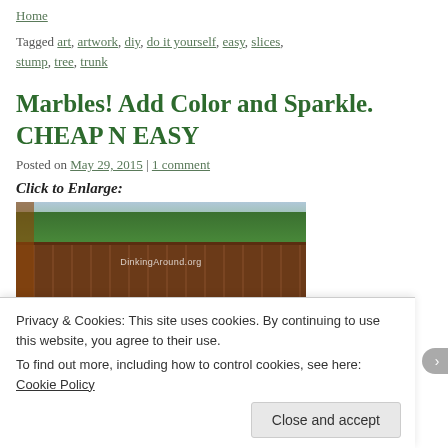Home
Tagged art, artwork, diy, do it yourself, easy, slices, stump, tree, trunk
Marbles! Add Color and Sparkle. CHEAP N EASY
Posted on May 29, 2015 | 1 comment
Click to Enlarge:
[Figure (photo): Outdoor backyard photo showing a wooden fence with trees and sky visible above, watermark DinkingAround.org]
[Figure (other): Red Pin it button for Pinterest]
[Figure (photo): Partial second photo showing colorful marbles or decorative items]
Privacy & Cookies: This site uses cookies. By continuing to use this website, you agree to their use. To find out more, including how to control cookies, see here: Cookie Policy
Close and accept